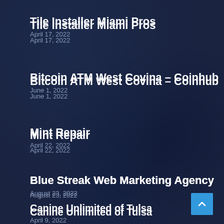Tile Installer Miami Pros
April 17, 2022
Bitcoin ATM West Covina – Coinhub
June 1, 2022
Mint Repair
April 22, 2022
Blue Streak Web Marketing Agency
August 23, 2022
Canine Unlimited of Tulsa
April 9, 2022